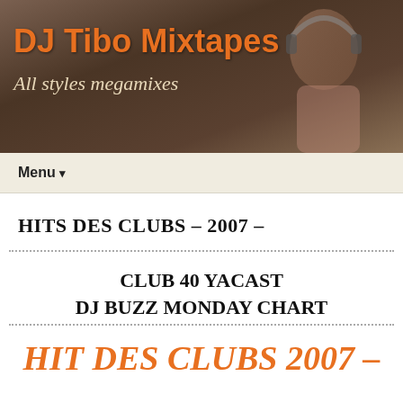[Figure (photo): Header banner with dark brownish background showing a person wearing headphones, overlaid with site title and subtitle text]
DJ Tibo Mixtapes
All styles megamixes
Menu ▾
HITS DES CLUBS – 2007 –
CLUB 40 YACAST
DJ BUZZ MONDAY CHART
HIT DES CLUBS 2007 –